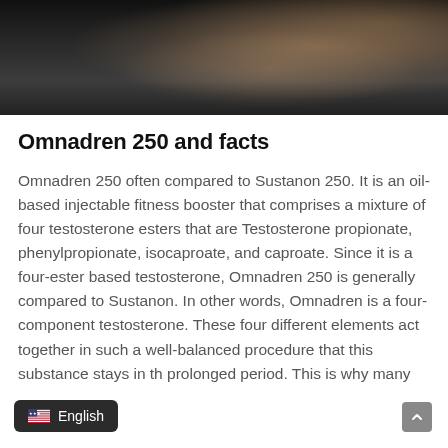[Figure (photo): A muscular person flexing or stretching their arm/shoulder against a dark background, possibly with powder or dust in the air.]
Omnadren 250 and facts
Omnadren 250 often compared to Sustanon 250. It is an oil-based injectable fitness booster that comprises a mixture of four testosterone esters that are Testosterone propionate, phenylpropionate, isocaproate, and caproate. Since it is a four-ester based testosterone, Omnadren 250 is generally compared to Sustanon. In other words, Omnadren is a four-component testosterone. These four different elements act together in such a well-balanced procedure that this substance stays in th prolonged period. This is why many